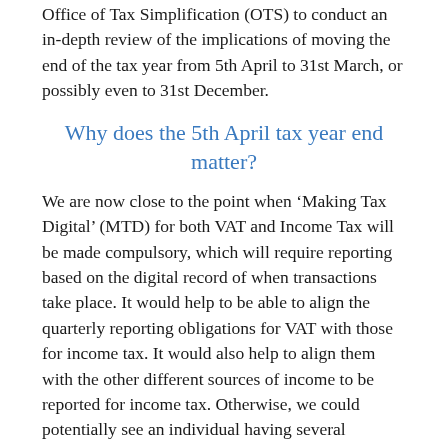Office of Tax Simplification (OTS) to conduct an in-depth review of the implications of moving the end of the tax year from 5th April to 31st March, or possibly even to 31st December.
Why does the 5th April tax year end matter?
We are now close to the point when 'Making Tax Digital' (MTD) for both VAT and Income Tax will be made compulsory, which will require reporting based on the digital record of when transactions take place. It would help to be able to align the quarterly reporting obligations for VAT with those for income tax. It would also help to align them with the other different sources of income to be reported for income tax. Otherwise, we could potentially see an individual having several quarterly reports to make every year.
For example, if we take a sole trader who is VAT registered and has a buy to let property, he or she